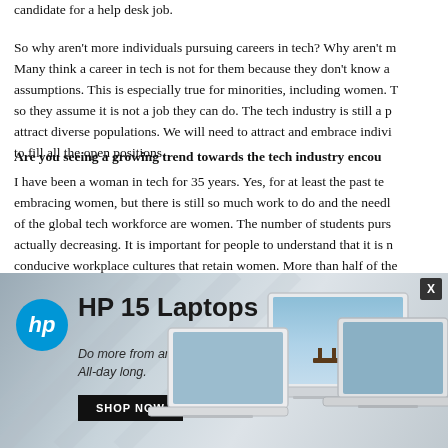candidate for a help desk job.
So why aren't more individuals pursuing careers in tech? Why aren't more... Many think a career in tech is not for them because they don't know a... assumptions. This is especially true for minorities, including women. T... so they assume it is not a job they can do. The tech industry is still a p... attract diverse populations. We will need to attract and embrace indivi... to fill all the open positions.
Are you seeing a growing trend towards the tech industry encou...
I have been a woman in tech for 35 years. Yes, for at least the past te... embracing women, but there is still so much work to do and the needl... of the global tech workforce are women. The number of students purs... actually decreasing. It is important for people to understand that it is n... conducive workplace cultures that retain women. More than half of the...
[Figure (screenshot): HP 15 Laptops advertisement banner with HP logo, tagline 'Do more from anywhere. All-day long.', SHOP NOW button, and images of laptops.]